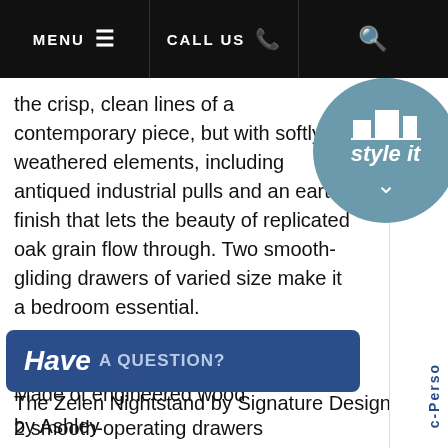MENU  ☰   CALL US  ✆   🔍
the crisp, clean lines of a contemporary piece, but with softly weathered elements, including antiqued industrial pulls and an earthy finish that lets the beauty of replicated oak grain flow through. Two smooth-gliding drawers of varied size make it a bedroom essential.
Made of engineered wood
2 smooth-operating drawers
Pewter-tone hardware
Vintage finish over replicated oak grain
Excluded from promotional discounts and coupons
Assembly required
Material: Wood Products and Othe...
Assembly Required
The Zelen Nightstand by Signature Design by Ashley